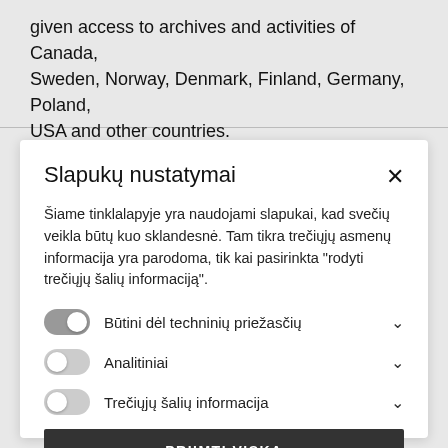given access to archives and activities of Canada, Sweden, Norway, Denmark, Finland, Germany, Poland, USA and other countries.
Slapukų nustatymai
Šiame tinklalapyje yra naudojami slapukai, kad svečių veikla būtų kuo sklandesnė. Tam tikra trečiųjų asmenų informacija yra parodoma, tik kai pasirinkta "rodyti trečiųjų šalių informaciją".
Būtini dėl techninių priežasčių
Analitiniai
Trečiųjų šalių informacija
PRIIMTI VISKĄ
IŠSAUGOTI